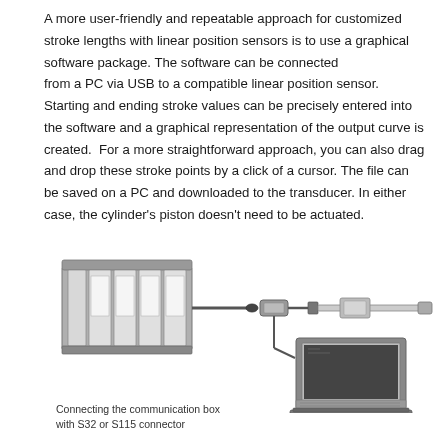A more user-friendly and repeatable approach for customized stroke lengths with linear position sensors is to use a graphical software package. The software can be connected from a PC via USB to a compatible linear position sensor. Starting and ending stroke values can be precisely entered into the software and a graphical representation of the output curve is created. For a more straightforward approach, you can also drag and drop these stroke points by a click of a cursor. The file can be saved on a PC and downloaded to the transducer. In either case, the cylinder's piston doesn't need to be actuated.
[Figure (schematic): Grayscale illustration showing a PLC/controller unit on the left connected via cable to a small communication box/connector in the center, which connects to a linear position sensor/transducer rod on the right. A cable also drops down from the communication box to a laptop computer shown in the lower right, illustrating the USB connection setup.]
Connecting the communication box with S32 or S115 connector